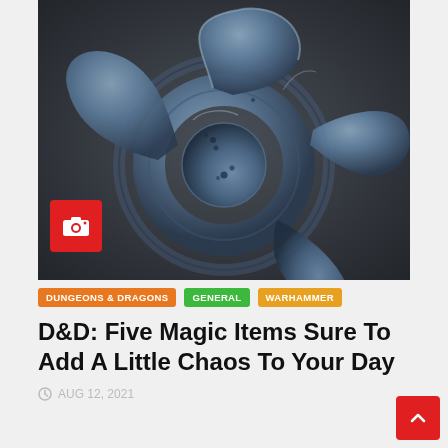[Figure (photo): Close-up photo of a dark metallic fantasy weapon (chakram/shuriken style blade) with swirling curved blades, textured metallic surface with blue-grey tones, on a dark background. A red camera badge icon is overlaid in the lower-left corner.]
DUNGEONS & DRAGONS   GENERAL   WARHAMMER
D&D: Five Magic Items Sure To Add A Little Chaos To Your Day
AUG 12, 2021